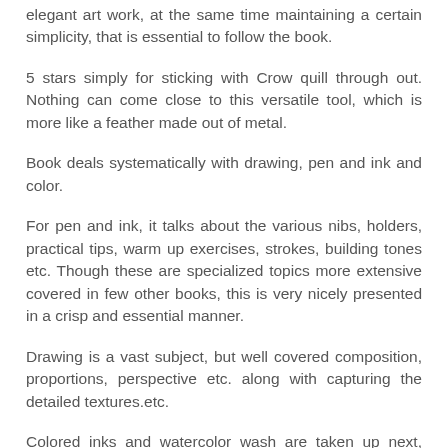elegant art work, at the same time maintaining a certain simplicity, that is essential to follow the book.
5 stars simply for sticking with Crow quill through out. Nothing can come close to this versatile tool, which is more like a feather made out of metal.
Book deals systematically with drawing, pen and ink and color.
For pen and ink, it talks about the various nibs, holders, practical tips, warm up exercises, strokes, building tones etc. Though these are specialized topics more extensive covered in few other books, this is very nicely presented in a crisp and essential manner.
Drawing is a vast subject, but well covered composition, proportions, perspective etc. along with capturing the detailed textures.etc.
Colored inks and watercolor wash are taken up next, presented with a lot of variety and application.